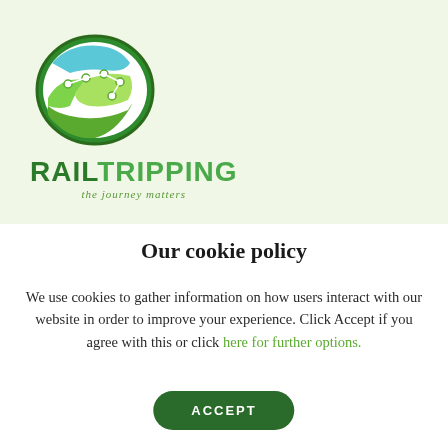[Figure (logo): RailTripping logo: a green leaf/teardrop shape containing a stylized map with cyan and green terrain sections and white dots connected by lines, representing a rail journey route.]
RAILTRIPPING
the journey matters
Our cookie policy
We use cookies to gather information on how users interact with our website in order to improve your experience. Click Accept if you agree with this or click here for further options.